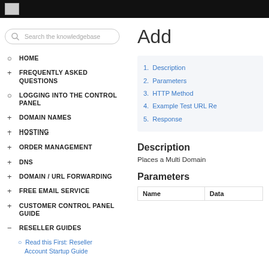HOME
FREQUENTLY ASKED QUESTIONS
LOGGING INTO THE CONTROL PANEL
DOMAIN NAMES
HOSTING
ORDER MANAGEMENT
DNS
DOMAIN / URL FORWARDING
FREE EMAIL SERVICE
CUSTOMER CONTROL PANEL GUIDE
RESELLER GUIDES
Read this First: Reseller Account Startup Guide
Add
1. Description
2. Parameters
3. HTTP Method
4. Example Test URL Re
5. Response
Description
Places a Multi Domain
Parameters
| Name | Data |
| --- | --- |